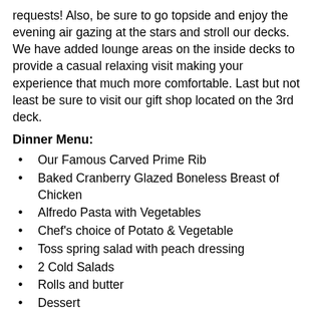requests! Also, be sure to go topside and enjoy the evening air gazing at the stars and stroll our decks. We have added lounge areas on the inside decks to provide a casual relaxing visit making your experience that much more comfortable. Last but not least be sure to visit our gift shop located on the 3rd deck.
Dinner Menu:
Our Famous Carved Prime Rib
Baked Cranberry Glazed Boneless Breast of Chicken
Alfredo Pasta with Vegetables
Chef's choice of Potato & Vegetable
Toss spring salad with peach dressing
2 Cold Salads
Rolls and butter
Dessert
Coffee and Iced Tea are complimentary with dinner